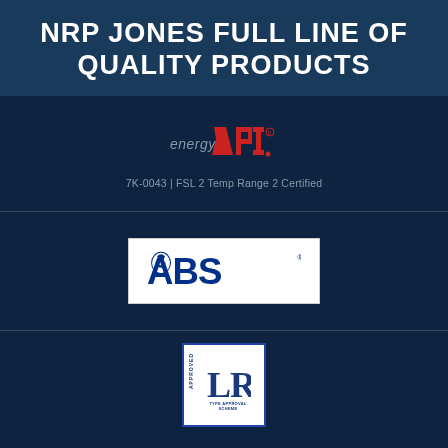NRP JONES FULL LINE OF QUALITY PRODUCTS
[Figure (logo): energy API logo — red stylized letters API with energy text, certification mark]
7K-0043 | FSL 2 Temp Range 2 Certified
[Figure (logo): ABS (American Bureau of Shipping) logo — blue eagle/shield icon with ABS text on white background]
[Figure (logo): LR (Lloyd's Register) Type Approval Scheme logo — blue LR letters on white square with APPROVED and TYPE APPROVAL SCHEME text]